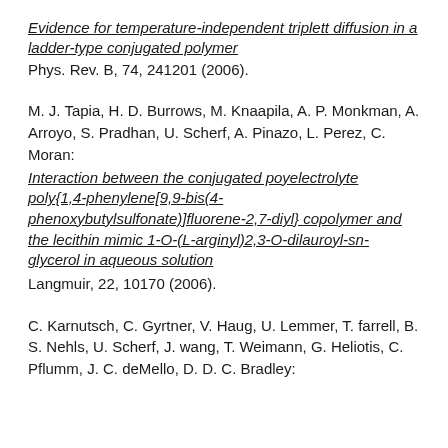Evidence for temperature-independent triplett diffusion in a ladder-type conjugated polymer Phys. Rev. B, 74, 241201 (2006).
M. J. Tapia, H. D. Burrows, M. Knaapila, A. P. Monkman, A. Arroyo, S. Pradhan, U. Scherf, A. Pinazo, L. Perez, C. Moran: Interaction between the conjugated poyelectrolyte poly{1,4-phenylene[9,9-bis(4-phenoxybutylsulfonate)]fluorene-2,7-diyl} copolymer and the lecithin mimic 1-O-(L-arginyl)2,3-O-dilauroyl-sn-glycerol in aqueous solution Langmuir, 22, 10170 (2006).
C. Karnutsch, C. Gyrtner, V. Haug, U. Lemmer, T. farrell, B. S. Nehls, U. Scherf, J. wang, T. Weimann, G. Heliotis, C. Pflumm, J. C. deMello, D. D. C. Bradley: